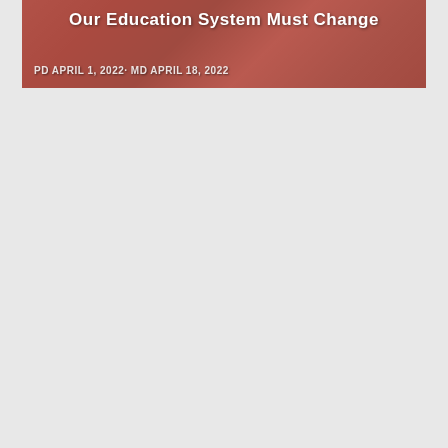[Figure (photo): Banner image with students or people related to education, with overlaid title text 'Our Education System Must Change' and date metadata 'PD APRIL 1, 2022· MD APRIL 18, 2022']
Our Education System Must Change
PD APRIL 1, 2022· MD APRIL 18, 2022